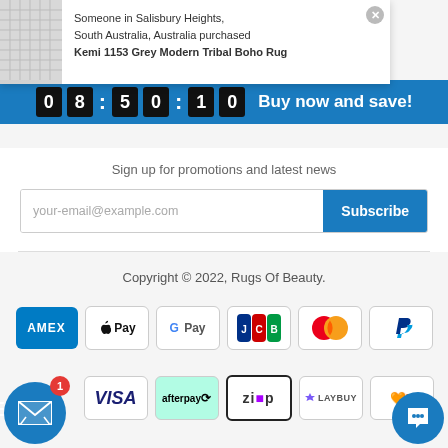Someone in Salisbury Heights, South Australia, Australia purchased Kemi 1153 Grey Modern Tribal Boho Rug
08:50:10 Buy now and save!
Sign up for promotions and latest news
your-email@example.com
Subscribe
Copyright © 2022, Rugs Of Beauty.
[Figure (other): Payment method icons: AMEX, Apple Pay, Google Pay, JCB, Mastercard, PayPal, Visa, Afterpay, Zip, Laybuy, Humm]
[Figure (other): Mail notification button with badge showing 1, and chat support button]